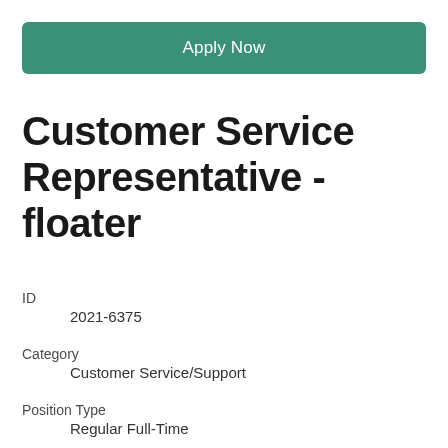Apply Now
Customer Service Representative - floater
ID
2021-6375
Category
Customer Service/Support
Position Type
Regular Full-Time